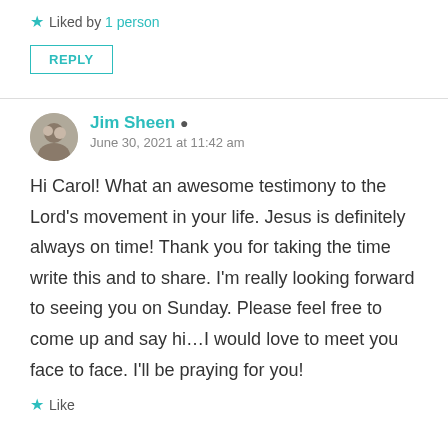★ Liked by 1 person
REPLY
Jim Sheen
June 30, 2021 at 11:42 am
Hi Carol! What an awesome testimony to the Lord's movement in your life. Jesus is definitely always on time! Thank you for taking the time write this and to share. I'm really looking forward to seeing you on Sunday. Please feel free to come up and say hi…I would love to meet you face to face. I'll be praying for you!
★ Like